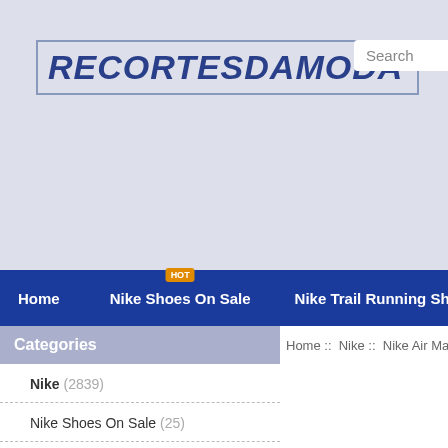RECORTESDAMODA
Search
Home | Nike Shoes On Sale HOT | Nike Trail Running Shoes
Home :: Nike :: Nike Air Max Sale :: nike
Categories
Nike (2839)
Nike Shoes On Sale (25)
Nike Trail Running Shoes (24)
Nike Uk Sale (18)
Nike Vapormax 360 (28)
Nike Vapormax Flyknit 3 (26)
Nike Vintage (15)
Nike Waffle Racer (25)
Nike Zoom Gravity (25)